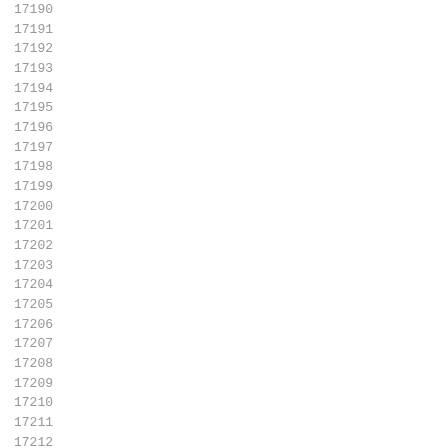| 17190 |
| 17191 |
| 17192 |
| 17193 |
| 17194 |
| 17195 |
| 17196 |
| 17197 |
| 17198 |
| 17199 |
| 17200 |
| 17201 |
| 17202 |
| 17203 |
| 17204 |
| 17205 |
| 17206 |
| 17207 |
| 17208 |
| 17209 |
| 17210 |
| 17211 |
| 17212 |
| 17213 |
| 17214 |
| 17215 |
| 17216 |
| 17217 |
| 17218 |
| 17219 |
| 17220 |